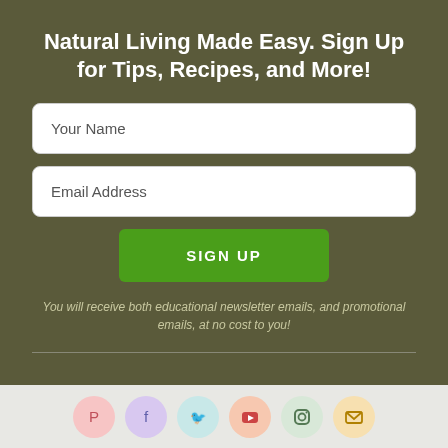Natural Living Made Easy. Sign Up for Tips, Recipes, and More!
Your Name
Email Address
SIGN UP
You will receive both educational newsletter emails, and promotional emails, at no cost to you!
[Figure (infographic): Row of six social media icon circles: Pinterest (pink), Facebook (purple), Twitter (teal), YouTube (orange), Instagram (light green), Email (yellow)]